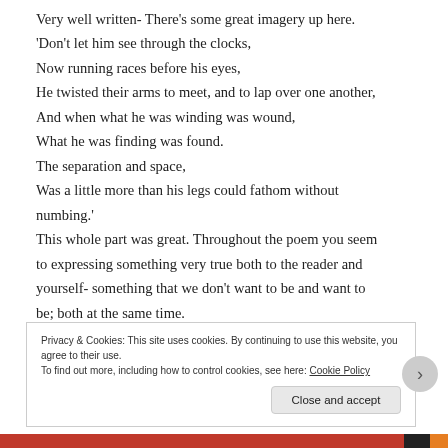Very well written- There's some great imagery up here. 'Don't let him see through the clocks, Now running races before his eyes, He twisted their arms to meet, and to lap over one another, And when what he was winding was wound, What he was finding was found. The separation and space, Was a little more than his legs could fathom without numbing.' This whole part was great. Throughout the poem you seem to expressing something very true both to the reader and yourself- something that we don't want to be and want to be; both at the same time.
Privacy & Cookies: This site uses cookies. By continuing to use this website, you agree to their use. To find out more, including how to control cookies, see here: Cookie Policy